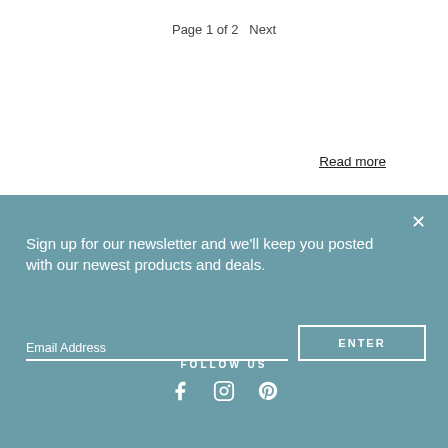Page 1 of 2   Next
Read more
Sign up for our newsletter and we'll keep you posted with our newest products and deals.
Email Address
ENTER
FOLLOW US
[Figure (other): Social media icons: Facebook, Instagram, Pinterest]